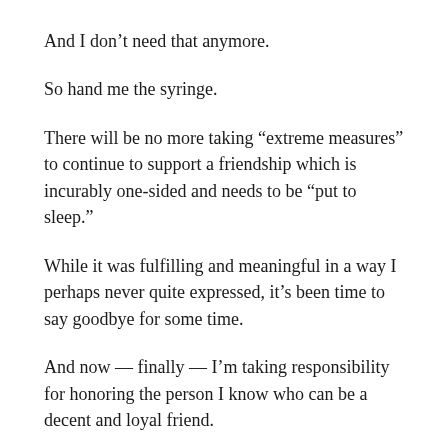And I don’t need that anymore.
So hand me the syringe.
There will be no more taking “extreme measures” to continue to support a friendship which is incurably one-sided and needs to be “put to sleep.”
While it was fulfilling and meaningful in a way I perhaps never quite expressed, it’s been time to say goodbye for some time.
And now — finally — I’m taking responsibility for honoring the person I know who can be a decent and loyal friend.